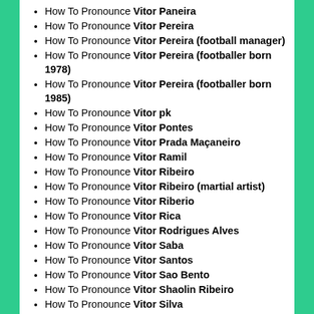How To Pronounce Vitor Paneira
How To Pronounce Vitor Pereira
How To Pronounce Vitor Pereira (football manager)
How To Pronounce Vitor Pereira (footballer born 1978)
How To Pronounce Vitor Pereira (footballer born 1985)
How To Pronounce Vitor pk
How To Pronounce Vitor Pontes
How To Pronounce Vitor Prada Maçaneiro
How To Pronounce Vitor Ramil
How To Pronounce Vitor Ribeiro
How To Pronounce Vitor Ribeiro (martial artist)
How To Pronounce Vitor Riberio
How To Pronounce Vitor Rica
How To Pronounce Vitor Rodrigues Alves
How To Pronounce Vitor Saba
How To Pronounce Vitor Santos
How To Pronounce Vitor Sao Bento
How To Pronounce Vitor Shaolin Ribeiro
How To Pronounce Vitor Silva
How To Pronounce Vitor Silva Assis de Oliveira